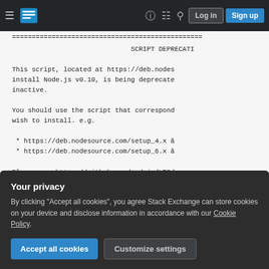Stack Exchange navigation bar with Log in and Sign up buttons
==================================================
                              SCRIPT DEPRECATI

This script, located at https://deb.nodes
install Node.js v0.10, is being deprecate
inactive.

You should use the script that correspond
wish to install. e.g.

 * https://deb.nodesource.com/setup_4.x â
 * https://deb.nodesource.com/setup_6.x â

Please see https://github.com/nodejs/LTS/
Your privacy
By clicking "Accept all cookies", you agree Stack Exchange can store cookies on your device and disclose information in accordance with our Cookie Policy.
Accept all cookies  Customize settings